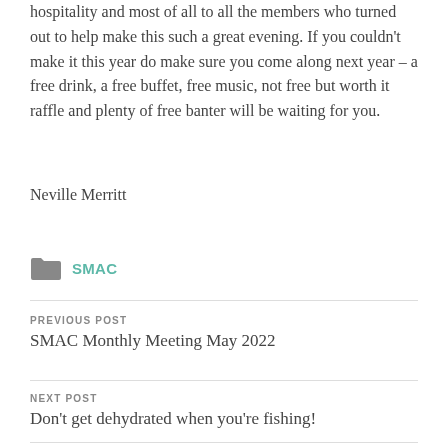hospitality and most of all to all the members who turned out to help make this such a great evening. If you couldn't make it this year do make sure you come along next year – a free drink, a free buffet, free music, not free but worth it raffle and plenty of free banter will be waiting for you.
Neville Merritt
SMAC
PREVIOUS POST
SMAC Monthly Meeting May 2022
NEXT POST
Don't get dehydrated when you're fishing!